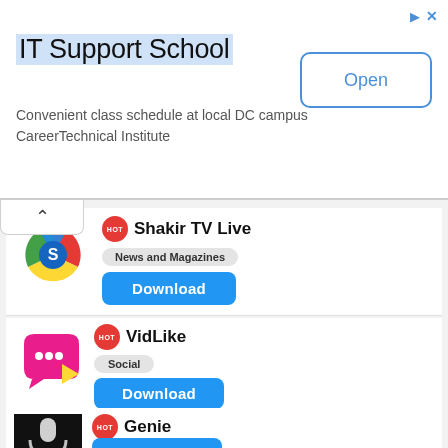[Figure (screenshot): Advertisement banner for IT Support School with Open button]
IT Support School
Convenient class schedule at local DC campus CareerTechnical Institute
[Figure (screenshot): Shakir TV Live app listing with HOT badge, News and Magazines category, and Download button]
Shakir TV Live
News and Magazines
[Figure (screenshot): VidLike app listing with HOT badge, Social category, and Download button]
VidLike
Social
[Figure (screenshot): Genie app listing with HOT badge, Tools category, and Download button]
Genie
Tools